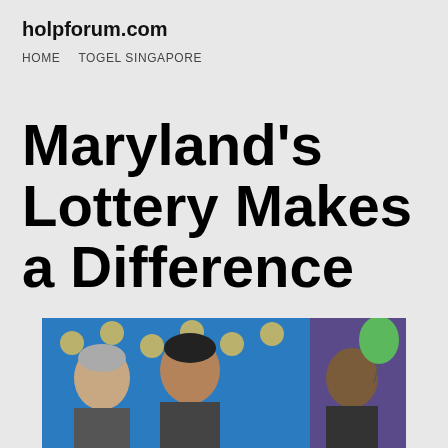holpforum.com
HOME   TOGEL SINGAPORE
Maryland’s Lottery Makes a Difference
[Figure (photo): Two people smiling in front of a blue lottery-branded backdrop, with a third person partially visible holding a green balloon]